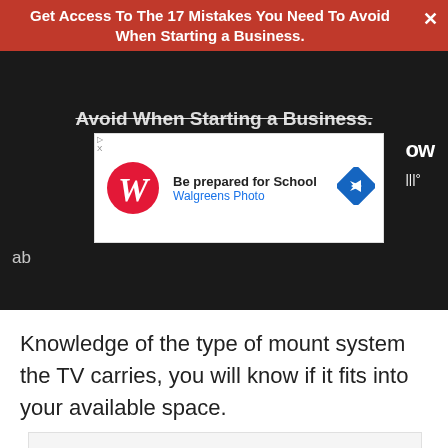Get Access To The 17 Mistakes You Need To Avoid When Starting a Business.
[Figure (screenshot): Walgreens Photo advertisement banner: 'Be prepared for School' with Walgreens logo and navigation arrow icon]
Knowledge of the type of mount system the TV carries, you will know if it fits into your available space.
[Figure (screenshot): Gray placeholder box at bottom of page]